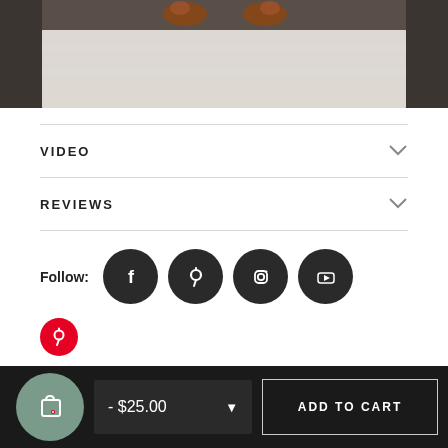[Figure (photo): Partial view of a product photo showing the bottom portion of an image with a textured light-colored surface (rug or mat) and decorative sandals/shoes visible at the top]
VIDEO
REVIEWS
Follow:
[Figure (illustration): Social media follow icons: Facebook, Pinterest, Instagram, YouTube — dark circular buttons]
[Figure (logo): Small Pinterest logo red circle]
- $25.00
ADD TO CART